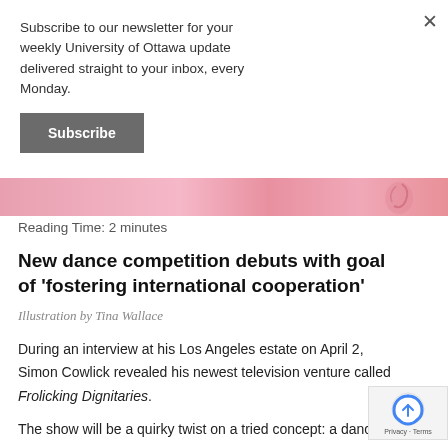Subscribe to our newsletter for your weekly University of Ottawa update delivered straight to your inbox, every Monday.
Subscribe
[Figure (illustration): Pink illustrated banner image, partially visible]
Reading Time: 2 minutes
New dance competition debuts with goal of ‘fostering international cooperation’
Illustration by Tina Wallace
During an interview at his Los Angeles estate on April 2, Simon Cowlick revealed his newest television venture called Frolicking Dignitaries.
The show will be a quirky twist on a tried concept: a dancing